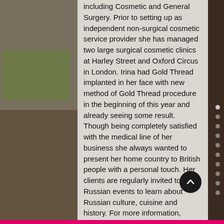including Cosmetic and General Surgery. Prior to setting up as independent non-surgical cosmetic service provider she has managed two large surgical cosmetic clinics at Harley Street and Oxford Circus in London. Irina had Gold Thread implanted in her face with new method of Gold Thread procedure in the beginning of this year and already seeing some result. Though being completely satisfied with the medical line of her business she always wanted to present her home country to British people with a personal touch. Her clients are regularly invited to Russian events to learn about Russian culture, cuisine and history. For more information, please visit : Russian evening and Travel Russia
Contact To learn more about this project and for personal comments regarding the